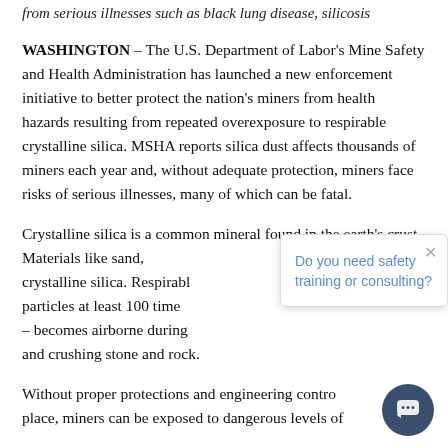from serious illnesses such as black lung disease, silicosis
WASHINGTON – The U.S. Department of Labor's Mine Safety and Health Administration has launched a new enforcement initiative to better protect the nation's miners from health hazards resulting from repeated overexposure to respirable crystalline silica. MSHA reports silica dust affects thousands of miners each year and, without adequate protection, miners face risks of serious illnesses, many of which can be fatal.
Crystalline silica is a common mineral found in the earth's crust. Materials like sand, [text obscured by popup] crystalline silica. Respirabl[e] particles at least 100 time[s] – becomes airborne during [mining operations] and crushing stone and rock.
Without proper protections and engineering control[s in] place, miners can be exposed to dangerous levels of [silica dust]...